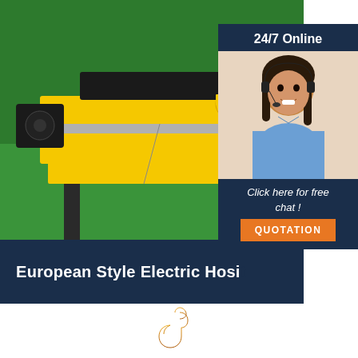[Figure (photo): Yellow and black European style electric hoist/crane machinery on green industrial floor in a factory setting]
24/7 Online
[Figure (photo): Woman with headset smiling, customer service representative]
Click here for free chat !
QUOTATION
European Style Electric Hoist
[Figure (illustration): Gold/orange crane hook icon]